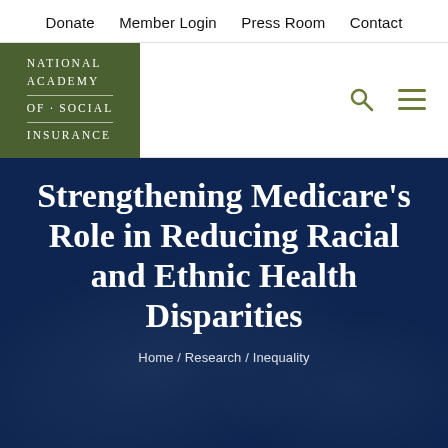Donate  Member Login  Press Room  Contact
[Figure (logo): National Academy of Social Insurance logo — white serif text on dark olive/green background]
Strengthening Medicare's Role in Reducing Racial and Ethnic Health Disparities
Home / Research / Inequality